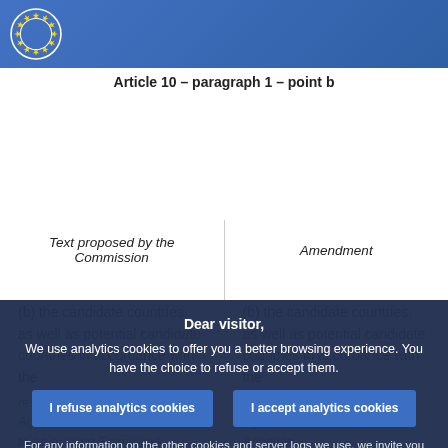European Parliament
Article 10 – paragraph 1 – point b
| Text proposed by the Commission | Amendment |
| --- | --- |
| (b) the candidate countries, as well as potential candidate countries in accordance with the respective Framework Agreements or a Protocol to an existing Framework Agreement establishing the general principles and conditions for their participation by the Commission of the candidate countries in Union programmes; | (b) the candidate countries, as well as potential candidate countries in accordance with the respective Framework Agreements or a Protocol to an existing Framework Agreement establishing the general principles and conditions for their participation by the adoption of the candidate countries in Union programmes; |
Dear visitor, We use analytics cookies to offer you a better browsing experience. You have the choice to refuse or accept them.
I refuse analytics cookies
I accept analytics cookies
For any information on the other cookies and server logs we use, we invite you to read our data protection policy , our cookies policy and our cookies inventory.